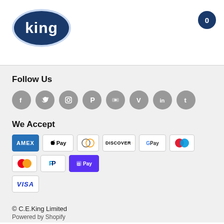[Figure (logo): King logo: white text 'king' on dark navy oval with light blue border]
[Figure (other): Cart badge showing 0, dark navy circle with white number]
Follow Us
[Figure (other): Social media icons row: Facebook, Twitter, Instagram, Pinterest, YouTube, Vimeo, LinkedIn, Tumblr — all grey circles with white icons]
We Accept
[Figure (other): Payment method logos: AMEX, Apple Pay, Diners Club, Discover, Google Pay, Maestro, Mastercard, PayPal, Shop Pay, Visa]
© C.E.King Limited
Powered by Shopify